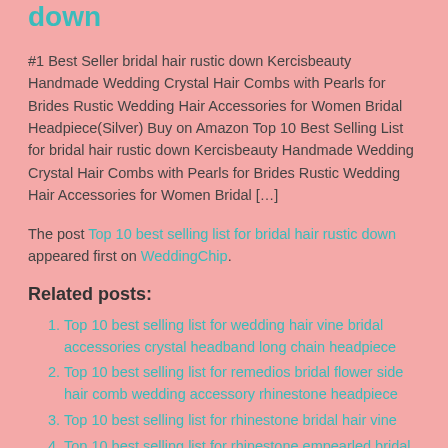down
#1 Best Seller bridal hair rustic down Kercisbeauty Handmade Wedding Crystal Hair Combs with Pearls for Brides Rustic Wedding Hair Accessories for Women Bridal Headpiece(Silver) Buy on Amazon Top 10 Best Selling List for bridal hair rustic down Kercisbeauty Handmade Wedding Crystal Hair Combs with Pearls for Brides Rustic Wedding Hair Accessories for Women Bridal […]
The post Top 10 best selling list for bridal hair rustic down appeared first on WeddingChip.
Related posts:
Top 10 best selling list for wedding hair vine bridal accessories crystal headband long chain headpiece
Top 10 best selling list for remedios bridal flower side hair comb wedding accessory rhinestone headpiece
Top 10 best selling list for rhinestone bridal hair vine
Top 10 best selling list for rhinestone empearled bridal hair piece